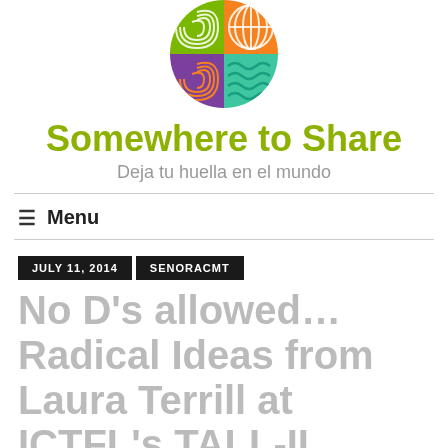[Figure (logo): Circular logo divided into four quadrants: top-left green with white fingerprint lines, top-right orange with white globe/grid lines, bottom-left purple with orange fingerprint spiral, bottom-right teal/green with teal wave lines]
Somewhere to Share
Deja tu huella en el mundo
≡ Menu
JULY 11, 2014   SENORACMT
No D's allowed… Radical Ideas from Laura Terrill at ICTFL's TALL-IL